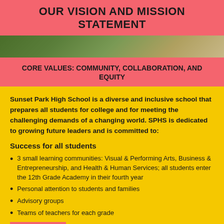OUR VISION AND MISSION STATEMENT
[Figure (photo): Background photo strip showing a school environment]
CORE VALUES: COMMUNITY, COLLABORATION, AND EQUITY
Sunset Park High School is a diverse and inclusive school that prepares all students for college and for meeting the challenging demands of a changing world.  SPHS is dedicated to growing future leaders and is committed to:
Success for all students
3 small learning communities: Visual & Performing Arts, Business & Entrepreneurship, and Health & Human Services; all students enter the 12th Grade Academy in their fourth year
Personal attention to students and families
Advisory groups
Teams of teachers for each grade
READ MORE